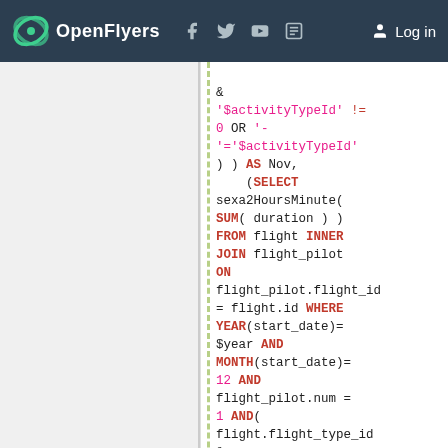OpenFlyers — Log in
Code block showing SQL query fragment with syntax highlighting: & '$activityTypeId' != 0 OR '-'='$activityTypeId' ) ) AS Nov, (SELECT sexa2HoursMinute( SUM( duration ) ) FROM flight INNER JOIN flight_pilot ON flight_pilot.flight_id = flight.id WHERE YEAR(start_date)= $year AND MONTH(start_date)= 12 AND flight_pilot.num = 1 AND( flight.flight_type_id & '$activityTypeId' != 0 OR '-'='$activityTypeId' ) ) AS Dece, sexa2HoursMinute(